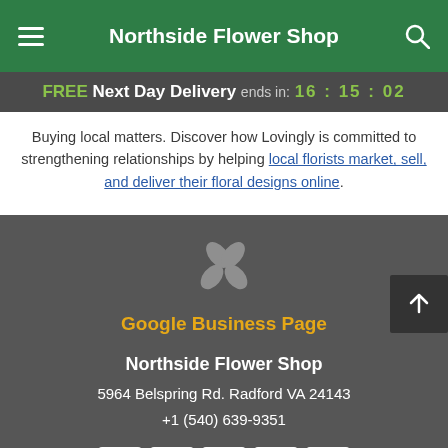Northside Flower Shop
FREE Next Day Delivery ends in: 16:15:02
Buying local matters. Discover how Lovingly is committed to strengthening relationships by helping local florists market, sell, and deliver their floral designs online.
[Figure (logo): Yelp logo icon — four colored petals/starbursts in gray]
Google Business Page
Northside Flower Shop
5964 Belspring Rd. Radford VA 24143
+1 (540) 639-9351
[Figure (other): Row of payment method card icons: Visa, American Express, Discover, Mastercard, and another card]